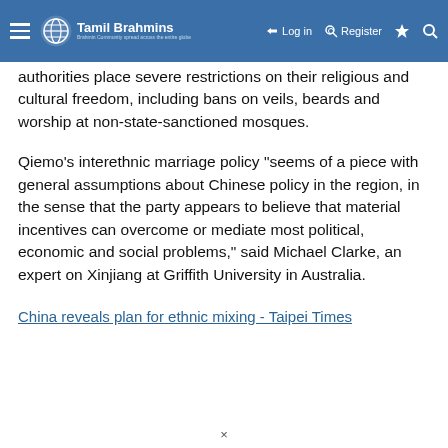Tamil Brahmins | Log in | Register
authorities place severe restrictions on their religious and cultural freedom, including bans on veils, beards and worship at non-state-sanctioned mosques.
Qiemo’s interethnic marriage policy “seems of a piece with general assumptions about Chinese policy in the region, in the sense that the party appears to believe that material incentives can overcome or mediate most political, economic and social problems,” said Michael Clarke, an expert on Xinjiang at Griffith University in Australia.
China reveals plan for ethnic mixing - Taipei Times